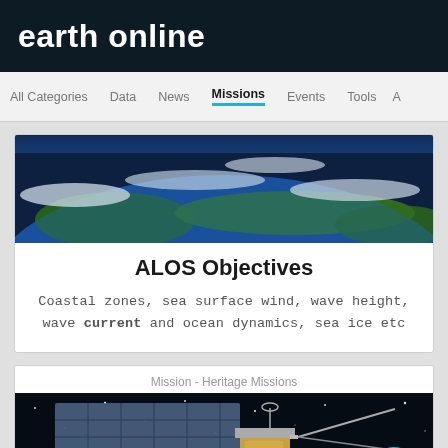earth online
All Categories  Data  News  Missions  Events  Tools
[Figure (photo): Aerial/satellite view of Earth showing ocean and land with clouds]
ALOS Objectives
Coastal zones, sea surface wind, wave height, wave current and ocean dynamics, sea ice etc
Mission - Heritage Missions
[Figure (photo): Satellite spacecraft in space with solar panels visible against starry background, with a circular teal filter button overlay]